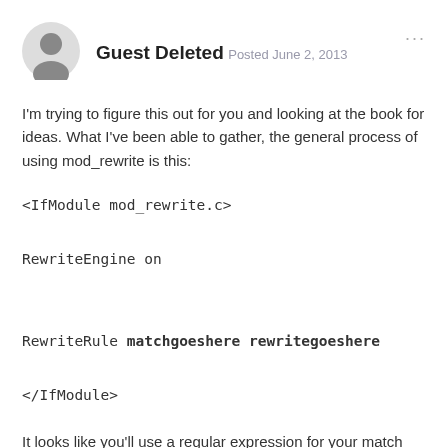Guest Deleted
Posted June 2, 2013
I'm trying to figure this out for you and looking at the book for ideas. What I've been able to gather, the general process of using mod_rewrite is this:
<IfModule mod_rewrite.c>
RewriteEngine on
RewriteRule matchgoeshere rewritegoeshere
</IfModule>
It looks like you'll use a regular expression for your match and then a variable for your rewrite.